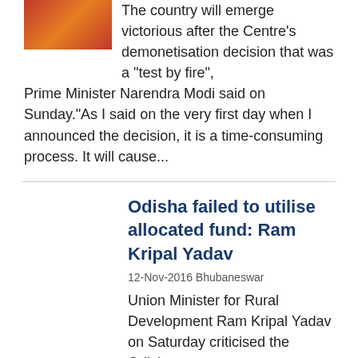[Figure (photo): Small thumbnail image of a crowd or event scene]
The country will emerge victorious after the Centre's demonetisation decision that was a "test by fire", Prime Minister Narendra Modi said on Sunday."As I said on the very first day when I announced the decision, it is a time-consuming process. It will cause...
Odisha failed to utilise allocated fund: Ram Kripal Yadav
12-Nov-2016 Bhubaneswar
Union Minister for Rural Development Ram Kripal Yadav on Saturday criticised the Odisha government for failing to utilise the fund allocated under various centrally-sponsored schemes.After holding a review meeting in which...